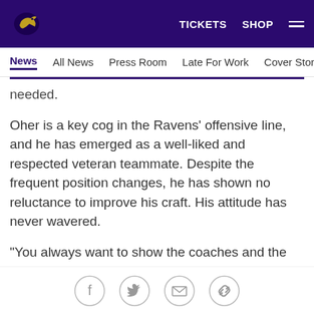TICKETS  SHOP  ☰
News  All News  Press Room  Late For Work  Cover Story  Soc
needed.
Oher is a key cog in the Ravens' offensive line, and he has emerged as a well-liked and respected veteran teammate. Despite the frequent position changes, he has shown no reluctance to improve his craft. His attitude has never wavered.
"You always want to show the coaches and the team that you're willing to do whatever it takes to help the team win," said Pro Bowl guard Marshal Yanda, who is one of Oher's closest friends. "Sometimes it means switching positions, and that's a tough thing to do. Mike
Social share icons: Facebook, Twitter, Email, Link